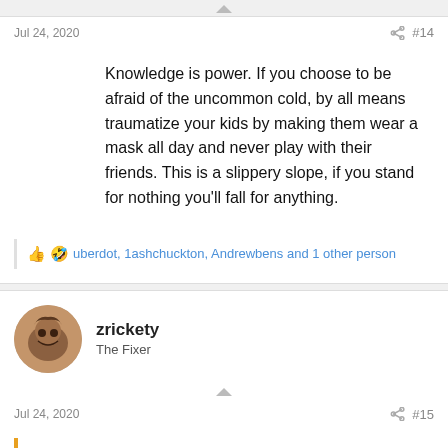Jul 24, 2020  #14
Knowledge is power. If you choose to be afraid of the uncommon cold, by all means traumatize your kids by making them wear a mask all day and never play with their friends. This is a slippery slope, if you stand for nothing you'll fall for anything.
uberdot, 1ashchuckton, Andrewbens and 1 other person
zrickety
The Fixer
Jul 24, 2020  #15
sterkrazzy said: